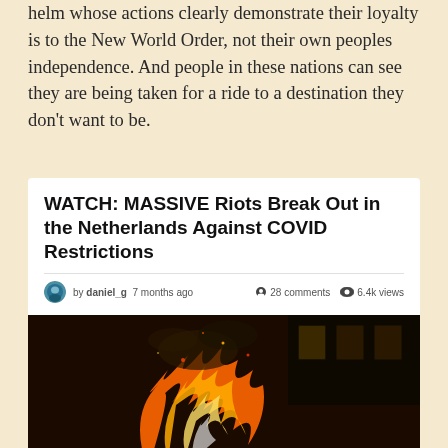helm whose actions clearly demonstrate their loyalty is to the New World Order, not their own peoples independence. And people in these nations can see they are being taken for a ride to a destination they don't want to be.
WATCH: MASSIVE Riots Break Out in the Netherlands Against COVID Restrictions
by daniel_g · 7 months ago · 28 comments · 6.4k views
[Figure (photo): Night-time photograph of burning police cars during riots in the Netherlands, with large orange flames visible and police vehicles with Dutch markings in the foreground.]